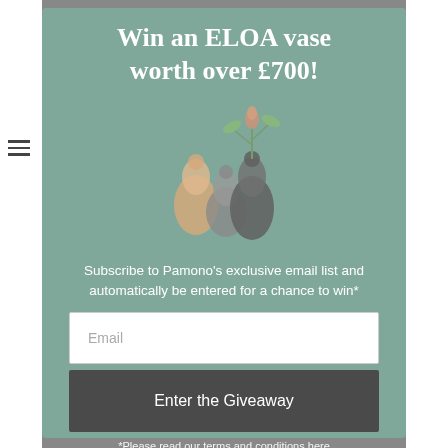Win an ELOA vase worth over £700!
[Figure (illustration): Three ELOA glass vases in muted tones (cream, grey, dark grey) with a dried floral stem, arranged together on a teal-green background.]
Subscribe to Pamono's exclusive email list and automatically be entered for a chance to win*
Email
Enter the Giveaway
*Please read our terms and conditions here